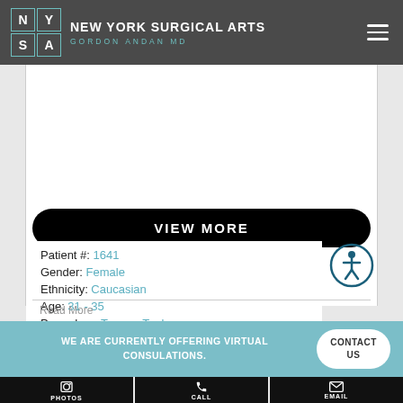NEW YORK SURGICAL ARTS — GORDON ANDAN MD
[Figure (other): White space image area placeholder above VIEW MORE button]
VIEW MORE
Patient #: 1641
Gender: Female
Ethnicity: Caucasian
Age: 31 - 35
Procedure: Tummy Tuck
[Figure (other): Accessibility icon — circle with person/wheelchair symbol]
Read More
WE ARE CURRENTLY OFFERING VIRTUAL CONSULATIONS.
CONTACT US
PHOTOS
CALL
EMAIL